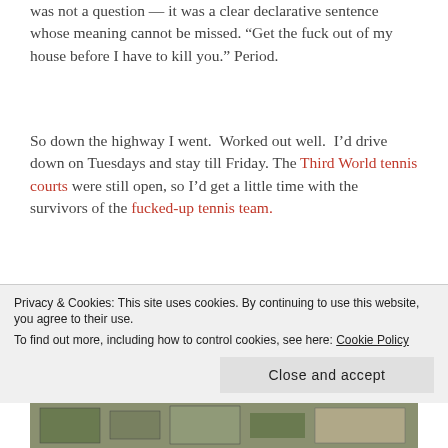was not a question — it was a clear declarative sentence whose meaning cannot be missed. “Get the fuck out of my house before I have to kill you.” Period.
So down the highway I went. Worked out well. I’d drive down on Tuesdays and stay till Friday. The Third World tennis courts were still open, so I’d get a little time with the survivors of the fucked-up tennis team.
[Figure (photo): Aerial satellite view of multiple tennis courts arranged in rows, with some green areas and a building complex visible to the right side.]
Privacy & Cookies: This site uses cookies. By continuing to use this website, you agree to their use.
To find out more, including how to control cookies, see here: Cookie Policy
[Figure (photo): Partial aerial view of another outdoor area, visible at the very bottom of the page.]